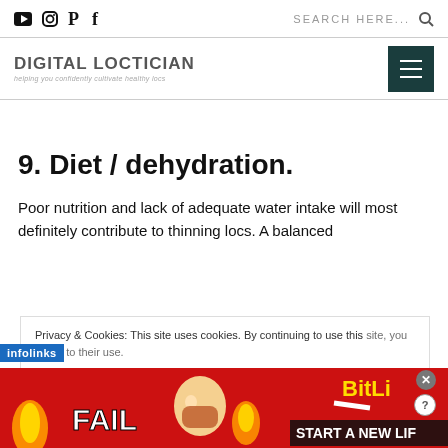Social icons: YouTube, Instagram, Pinterest, Facebook | SEARCH HERE...
DIGITAL LOCTICIAN — helping you confidently cultivate healthy locs
9. Diet / dehydration.
Poor nutrition and lack of adequate water intake will most definitely contribute to thinning locs. A balanced
Privacy & Cookies: This site uses cookies. By continuing to use this site, you agree to their use.
[Figure (photo): Advertisement banner with colorful graphic showing FAIL text, cartoon figure, flames, and BitLi... START A NEW LIF...]
infolinks